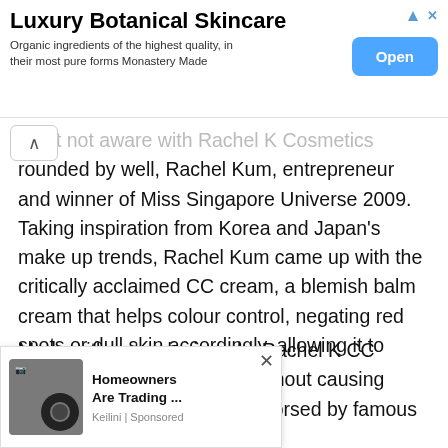[Figure (screenshot): Advertisement banner for Luxury Botanical Skincare with Open button]
...but not aware with Rachel K Cosmetics founded by well, Rachel Kum, entrepreneur and winner of Miss Singapore Universe 2009. Taking inspiration from Korea and Japan's make up trends, Rachel Kum came up with the critically acclaimed CC cream, a blemish balm cream that helps colour control, negating red spots or dull skin accordingly, allowing it to appear bright blemish-free.
Made with natural minerals, Rachel K CC Cream is suitable for most without causing irritation. Spreading were endorsed by famous istes such as Zhang Ziyi, Sammi Chung...
[Figure (screenshot): Bottom advertisement: Homeowners Are Trading ... Keilini | Sponsored, with camera product image and X close button]